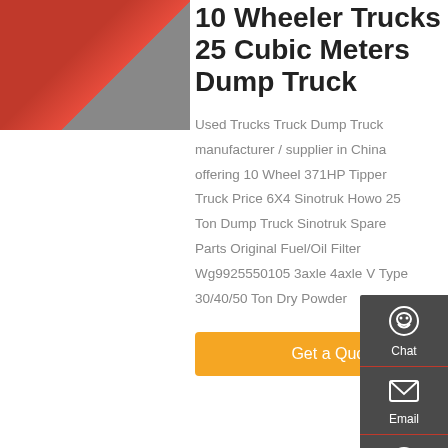[Figure (photo): Partial view of a red dump truck]
10 Wheeler Trucks 25 Cubic Meters Dump Truck
Used Trucks Truck Dump Truck manufacturer / supplier in China offering 10 Wheel 371HP Tipper Truck Price 6X4 Sinotruk Howo 25 Ton Dump Truck Sinotruk Spare Parts Original Fuel/Oil Filter Wg9925550105 3axle 4axle V Type 30/40/50 Ton Dry Powder
Get a Quote